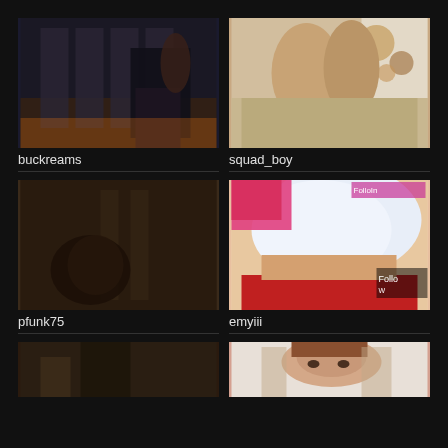[Figure (photo): Dark screenshot showing a person from behind in black pants near metal structure with sunset]
buckreams
[Figure (photo): Two young men posing together shirtless in a room with couch]
squad_boy
[Figure (photo): Dark blurry room scene with person in dark clothing]
pfunk75
[Figure (photo): Close-up of person in white top and red shorts with pink accessory, Follow watermark visible]
emyiii
[Figure (photo): Partial thumbnail of room scene, bottom row left]
[Figure (photo): Partial thumbnail showing young woman with brown hair, bottom row right]